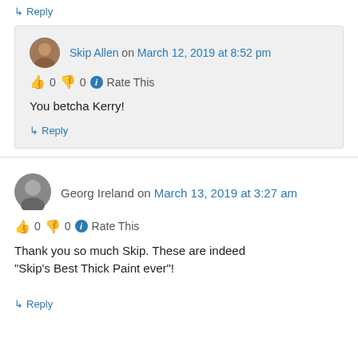↳ Reply
Skip Allen on March 12, 2019 at 8:52 pm
👍 0 👎 0 ℹ Rate This
You betcha Kerry!
↳ Reply
Georg Ireland on March 13, 2019 at 3:27 am
👍 0 👎 0 ℹ Rate This
Thank you so much Skip. These are indeed "Skip's Best Thick Paint ever"!
↳ Reply